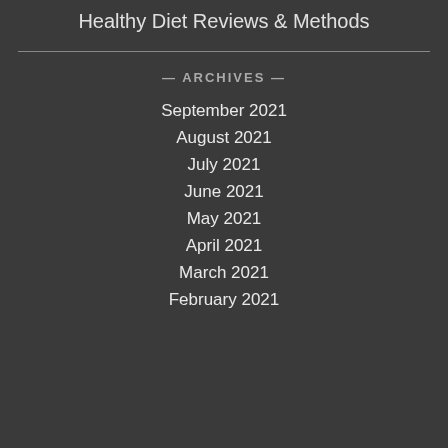Healthy Diet Reviews & Methods
— ARCHIVES —
September 2021
August 2021
July 2021
June 2021
May 2021
April 2021
March 2021
February 2021